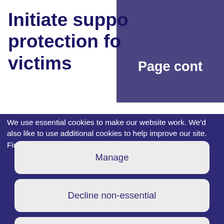Initiate suppo protection for victims
Page cont
We use essential cookies to make our website work. We'd also like to use additional cookies to help improve our site. Find out more about
Manage
Decline non-essential
Accept all